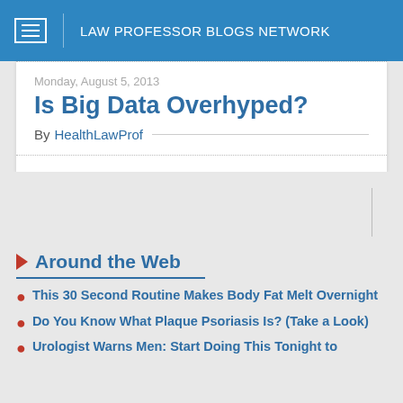LAW PROFESSOR BLOGS NETWORK
Monday, August 5, 2013
Is Big Data Overhyped?
By HealthLawProf
Around the Web
This 30 Second Routine Makes Body Fat Melt Overnight
Do You Know What Plaque Psoriasis Is? (Take a Look)
Urologist Warns Men: Start Doing This Tonight to